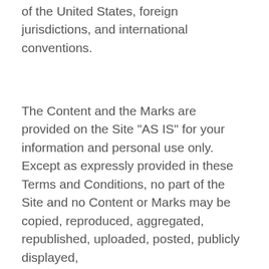of the United States, foreign jurisdictions, and international conventions.
The Content and the Marks are provided on the Site “AS IS” for your information and personal use only. Except as expressly provided in these Terms and Conditions, no part of the Site and no Content or Marks may be copied, reproduced, aggregated, republished, uploaded, posted, publicly displayed,
[Figure (screenshot): Cookie consent banner with black background reading 'This website uses cookies to ensure you get the best experience on our website.' with a 'Learn more' link and a yellow 'Got it!' button. A blue circular scroll-to-top button with double chevron arrows is partially visible on the right.]
to download or print a copy of any portion of the